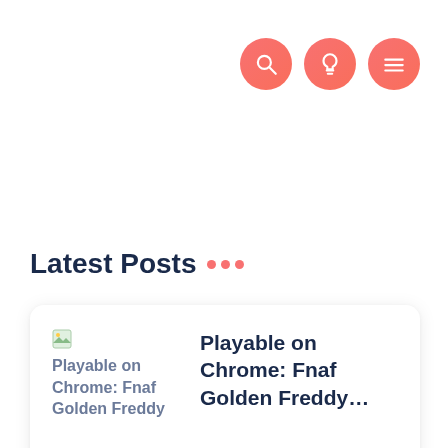[Figure (infographic): Three circular icon buttons in salmon/coral pink gradient color: search (magnifying glass), lightbulb, and hamburger menu icons, positioned top-right]
Latest Posts ···
Playable on Chrome: Fnaf Golden Freddy... (post card with thumbnail text and title)